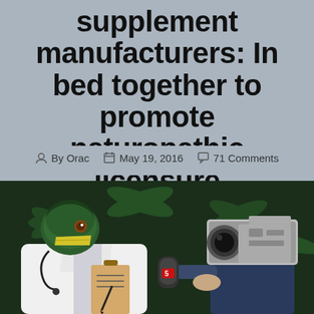supplement manufacturers: In bed together to promote naturopathic licensure
By Orac   May 19, 2016   71 Comments
[Figure (photo): A humorous composite image showing a duck-headed figure in a white doctor's coat with a stethoscope, holding a clipboard, being interviewed by a person with a TV camera for a head, against a dark cannabis leaf background.]